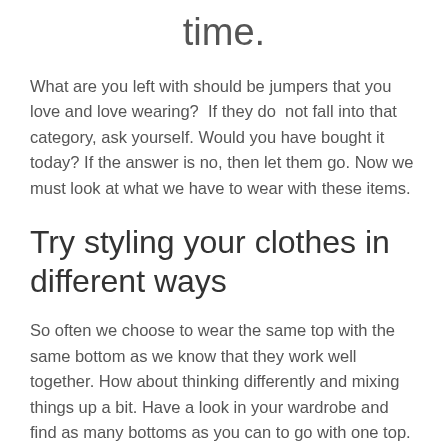time.
What are you left with should be jumpers that you love and love wearing?  If they do  not fall into that category, ask yourself. Would you have bought it today? If the answer is no, then let them go. Now we must look at what we have to wear with these items.
Try styling your clothes in different ways
So often we choose to wear the same top with the same bottom as we know that they work well together. How about thinking differently and mixing things up a bit. Have a look in your wardrobe and find as many bottoms as you can to go with one top. If you have had your colours done you should find this quite easy, as you will have bought in your colour...